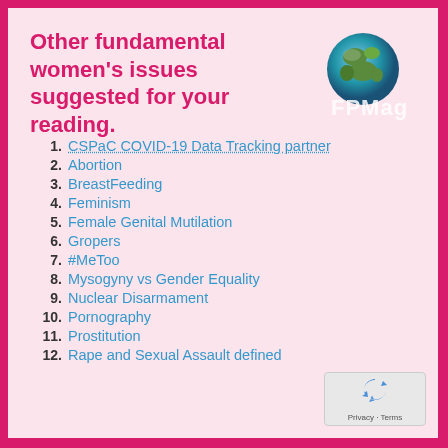Other fundamental women's issues suggested for your reading.
[Figure (logo): FPMag globe logo with blue/green earth graphic and FPMag text in white/grey]
1. CSPaC COVID-19 Data Tracking partner
2. Abortion
3. BreastFeeding
4. Feminism
5. Female Genital Mutilation
6. Gropers
7. #MeToo
8. Mysogyny vs Gender Equality
9. Nuclear Disarmament
10. Pornography
11. Prostitution
12. Rape and Sexual Assault defined
[Figure (logo): reCAPTCHA logo with Privacy - Terms text]